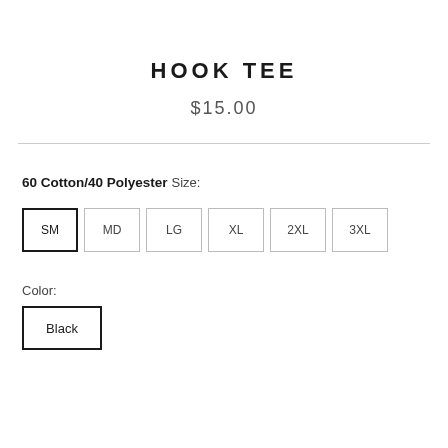HOOK TEE
$15.00
60 Cotton/40 Polyester
Size:
SM  MD  LG  XL  2XL  3XL
Color:
Black